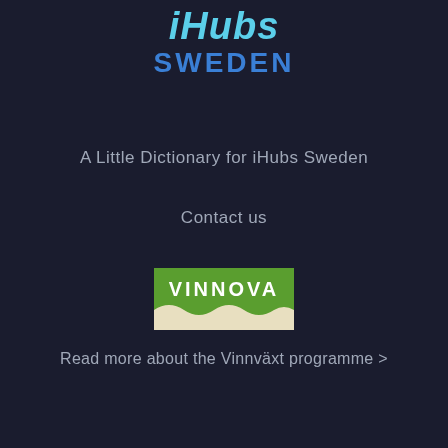[Figure (logo): iHubs Sweden logo with 'iHubs' in cyan italic bold text and 'SWEDEN' in dark blue bold capitals below]
A Little Dictionary for iHubs Sweden
Contact us
[Figure (logo): Vinnova logo — green rectangle with white 'VINNOVA' text and a cream wave at the bottom]
Read more about the Vinnväxt programme >